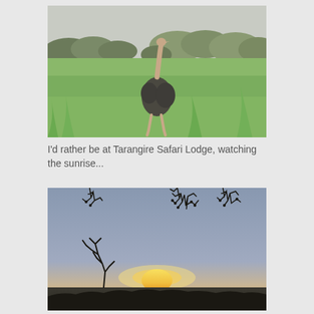[Figure (photo): An ostrich standing in tall green grass with sparse acacia trees and bushes in the background, misty/overcast sky, savanna setting.]
I'd rather be at Tarangire Safari Lodge, watching the sunrise...
[Figure (photo): Sunset or sunrise landscape with silhouetted acacia thorn trees in the foreground and a glowing orange sun on the horizon under a grey-blue sky.]